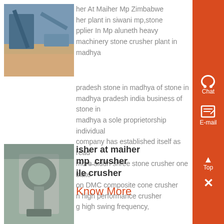[Figure (photo): Outdoor stone crusher plant with conveyors and machinery]
her At Maiher Mp Zimbabwe her plant in siwani mp,stone pplier In Mp aluneth heavy machinery stone crusher plant in madhya pradesh stone in madhya of stone in madhya pradesh india business of stone in madhya a sole proprietorship individual company has established itself as read more siddh shree stone crusher one slate ....
Know More
[Figure (photo): Industrial cone crusher machine close-up]
isher at maiher mp_crusher ile crusher
on DMC composite cone crusher n high performance crusher g high swing frequency,